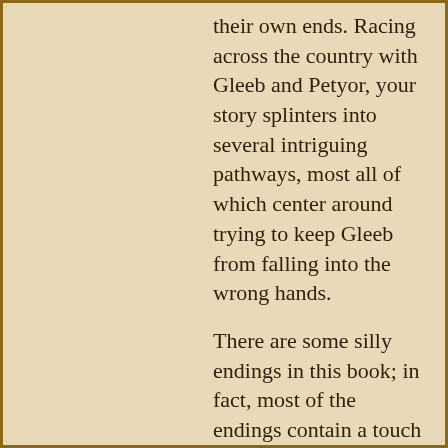their own ends. Racing across the country with Gleeb and Petyor, your story splinters into several intriguing pathways, most all of which center around trying to keep Gleeb from falling into the wrong hands.
There are some silly endings in this book; in fact, most of the endings contain a touch of silliness, which is somewhat uncommon for the Choose Your Own Adventure series. One of the endings is actually a little bit emotionally touching, though, and there are a couple of action sequences